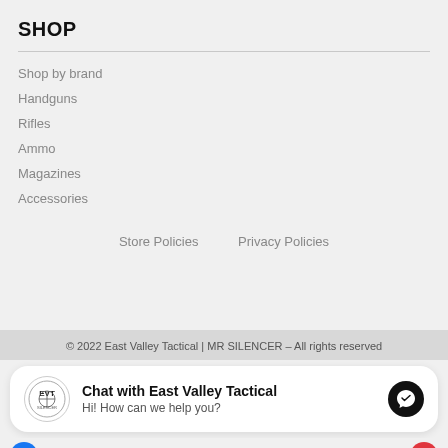SHOP
Shop by brand
Handguns
Rifles
Ammo
Magazines
Accessories
Store Policies     Privacy Policies
© 2022 East Valley Tactical | MR SILENCER – All rights reserved
Chat with East Valley Tactical
Hi! How can we help you?